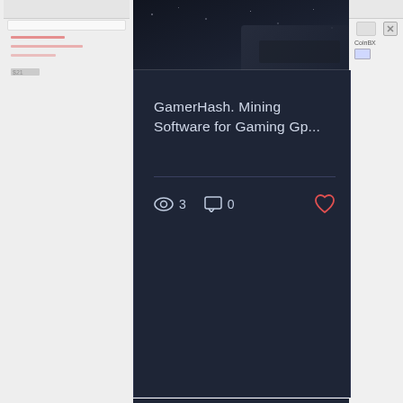[Figure (screenshot): Screenshot of a dark-themed website (GamerHash) showing a blog post card titled 'GamerHash. Mining Software for Gaming Gp...' with view count (3), comment count (0), and a heart/like icon. Below the card are pagination dots (3 dots, first active/teal). The lower portion shows a dark background section with a yellow-outlined back-to-top button (chevron up). At the bottom is a black navigation bar with email, Facebook, Twitter, Discord, and Telegram icons.]